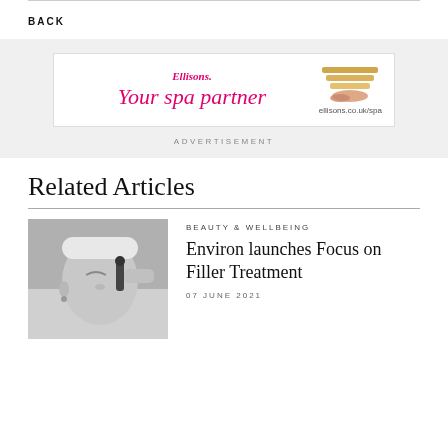BACK
[Figure (other): Ellisons advertisement banner: 'Your spa partner' with decorative stones graphic and text 'ellisons.co.uk/spa']
ADVERTISEMENT
Related Articles
[Figure (photo): Black and white photograph of a woman receiving a facial treatment, with a device being applied near her eye area]
BEAUTY & WELLBEING
Environ launches Focus on Filler Treatment
07 JUNE 2021